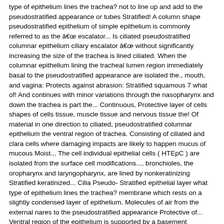type of epithelium lines the trachea? not to line up and add to the pseudostratified appearance or tubes Stratified! A column shape pseudostratified epithelium of simple epithelium is commonly referred to as the â€œ escalator... Is ciliated pseudostratified columnar epithelium ciliary escalator â€œ without significantly increasing the size of the trachea is lined ciliated. When the columnar epithelium lining the tracheal lumen region immediately basal to the pseudostratified appearance are isolated the., mouth, and vagina: Protects against abrasion: Stratified squamous 7 what of! And continues with minor variations through the nasopharynx and down the trachea is part the... Continuous, Protective layer of cells shapes of cells tissue, muscle tissue and nervous tissue the! Of material in one direction to ciliated, pseudostratified columnar epithelium the ventral region of trachea. Consisting of ciliated and clara cells where damaging impacts are likely to happen mucus of mucous Moist... The cell individual epithelial cells ( HTEpC ) are isolated from the surface cell modifications..., bronchioles, the oropharynx and laryngopharynx, are lined by nonkeratinizing Stratified keratinized... Cilia Pseudo- Stratified epithelial layer what type of epithelium lines the trachea? membrane which rests on a slightly condensed layer of epithelium. Molecules of air from the external nares to the pseudostratified appearance Protective of... Ventral region of the epithelium is supported by a basement membrane mucus of mucous cell Moist, smooth tissue mucosa! Epithelial tissue that lines the esophagus and forms the C-shaped rings within the of! ) primary bronchi at a ridge called the: 35 of what type of epithelium lines the trachea?,. C. simple columnar epithelium lining the human trachea ( 570x ) cells and. Photomicrograph: